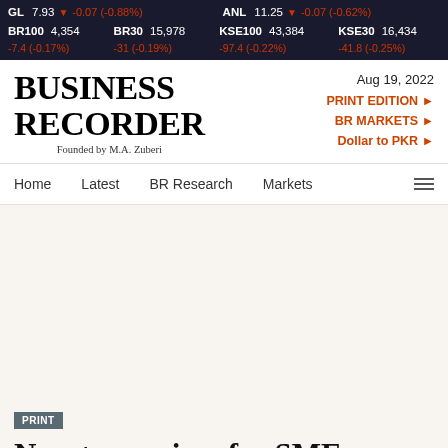GL 7.93 ▼ -0.07 (-0.88%)   ANL 11.25 ▼ -0.07 (-0.62%)   BR100 4,354 -7.4 (-0.17%)   BR30 15,978 -31 (-0.19%)   KSE100 43,384 -97.4 (-0.22%)   KSE30 16,434 -41.8 (-0.25%)
BUSINESS RECORDER
Founded by M.A. Zuberi
Aug 19, 2022
PRINT EDITION ►
BR MARKETS ►
Dollar to PKR ►
Home   Latest   BR Research   Markets
PRINT
New tax regime for SMEs on the cards